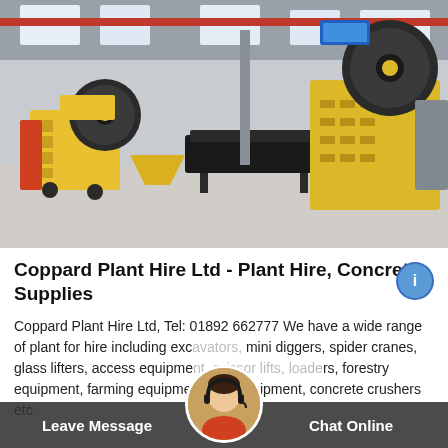[Figure (photo): Industrial warehouse/factory interior showing two large yellow jaw crusher machines and a conveyor belt on a concrete floor, with overhead cranes and skylights visible in the background.]
Coppard Plant Hire Ltd - Plant Hire, Concrete Supplies
Coppard Plant Hire Ltd, Tel: 01892 662777 We have a wide range of plant for hire including exo... mini diggers, spider cranes, glass lifters, access equipme... rs, forestry equipment, farming equipment, site equipment, concrete crushers etc.
[Figure (photo): Customer service representative avatar with headset, circular crop, shown in the bottom bar chat widget overlay.]